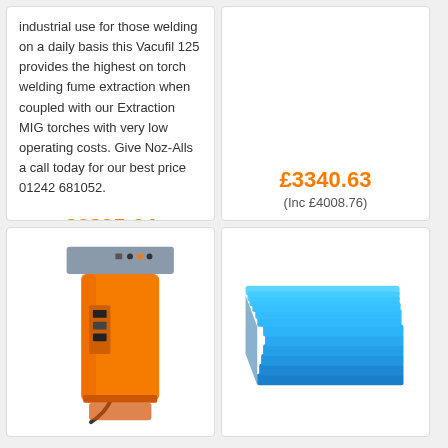industrial use for those welding on a daily basis this Vacufil 125 provides the highest on torch welding fume extraction when coupled with our Extraction MIG torches with very low operating costs. Give Noz-Alls a call today for our best price 01242 681052.
£6395.64 (Inc £7674.77)
£3340.63 (Inc £4008.76)
[Figure (photo): Orange cylindrical welding fume extractor machine with grey top panel and controls]
[Figure (photo): Stack of blue flat boards or sheets]